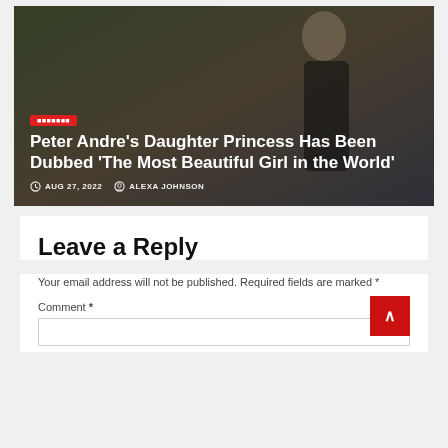[Figure (photo): Article card with dark background showing a woman in a black dress, overlaid with white bold headline text and metadata]
Peter Andre’s Daughter Princess Has Been Dubbed ‘The Most Beautiful Girl in the World’
AUG 27, 2022   ALEXA JOHNSON
Leave a Reply
Your email address will not be published. Required fields are marked *
Comment *